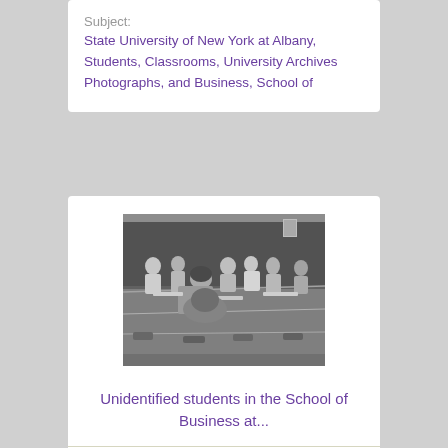Subject:
State University of New York at Albany, Students, Classrooms, University Archives Photographs, and Business, School of
[Figure (photo): Black and white photograph of unidentified students sitting at desks in a classroom at the School of Business. Several students are visible, some appearing to be writing or studying.]
Unidentified students in the School of Business at...
Type:
Image
Date Created: